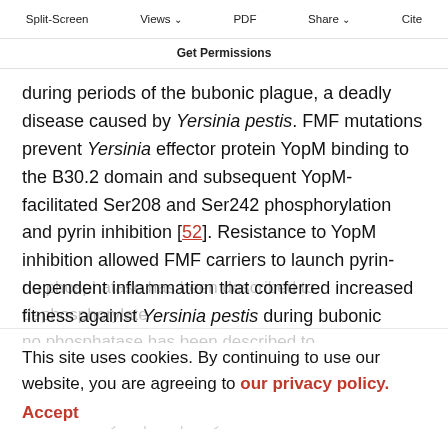Split-Screen | Views | PDF | Share | Cite | Get Permissions
not the only checkpoint that prevents pyrin activation. Interestingly, FMF mutations are not always detrimental. In the Turkish population, they underwent positive selection during periods of the bubonic plague, a deadly disease caused by Yersinia pestis. FMF mutations prevent Yersinia effector protein YopM binding to the B30.2 domain and subsequent YopM-facilitated Ser208 and Ser242 phosphorylation and pyrin inhibition [52]. Resistance to YopM inhibition allowed FMF carriers to launch pyrin-dependent inflammation that conferred increased fitness against Yersinia pestis during bubonic plague [52]. To date no phosphatase has been described to dephosphorylate
This site uses cookies. By continuing to use our website, you are agreeing to our privacy policy. Accept